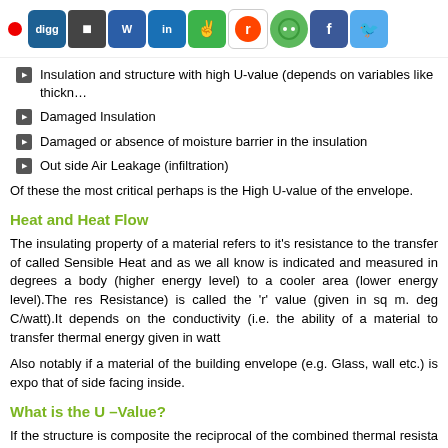Social sharing icons: digg, and others
Insulation and structure with high U-value (depends on variables like thickness)
Damaged Insulation
Damaged or absence of moisture barrier in the insulation
Out side Air Leakage (infiltration)
Of these the most critical perhaps is the High U-value of the envelope.
Heat and Heat Flow
The insulating property of a material refers to it's resistance to the transfer of called Sensible Heat and as we all know is indicated and measured in degrees a body (higher energy level) to a cooler area (lower energy level).The res Resistance) is called the 'r' value (given in sq m. deg C/watt).It depends on the conductivity (i.e. the ability of a material to transfer thermal energy given in watt
Also notably if a material of the building envelope (e.g. Glass, wall etc.) is expo that of side facing inside.
What is the U –Value?
If the structure is composite the reciprocal of the combined thermal resista indication of the quantity of thermal energy in watts transferred over an area o